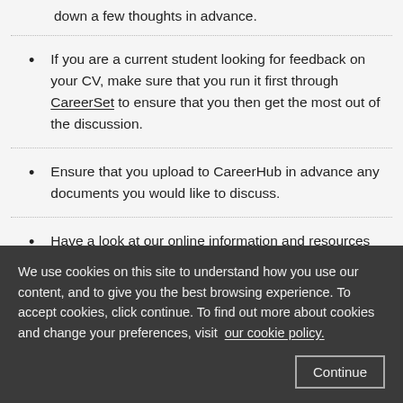down a few thoughts in advance.
If you are a current student looking for feedback on your CV, make sure that you run it first through CareerSet to ensure that you then get the most out of the discussion.
Ensure that you upload to CareerHub in advance any documents you would like to discuss.
Have a look at our online information and resources and
We use cookies on this site to understand how you use our content, and to give you the best browsing experience. To accept cookies, click continue. To find out more about cookies and change your preferences, visit our cookie policy.